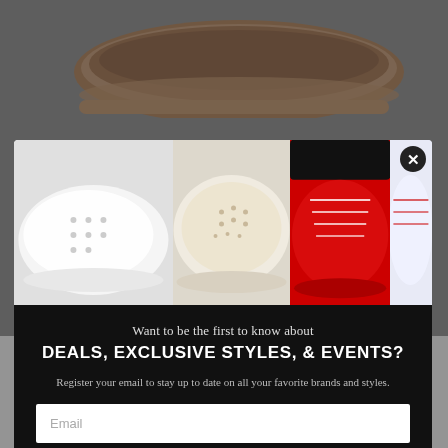[Figure (photo): Brown sneaker shoe product photo at top of page, partially visible against gray background]
[Figure (photo): Modal popup overlay showing multiple sneakers: white perforated sneaker on left, cream/beige sneaker in center, bold red sneaker in center-right, white and red sneaker on far right]
Want to be the first to know about
DEALS, EXCLUSIVE STYLES, & EVENTS?
Register your email to stay up to date on all your favorite brands and styles.
Email
Sign Up
Size
7
7.5
8
8.5